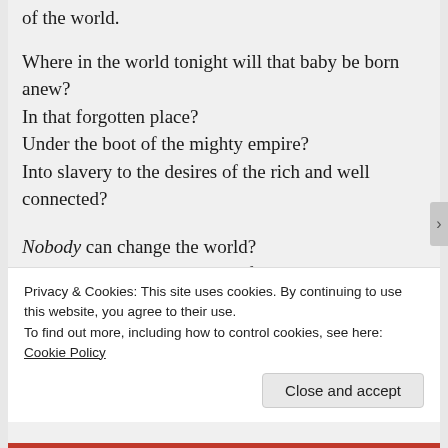of the world.
Where in the world tonight will that baby be born anew?
In that forgotten place?
Under the boot of the mighty empire?
Into slavery to the desires of the rich and well connected?
Nobody can change the world?
—One thought that must itself be changed!
Tell everyone you know:
Privacy & Cookies: This site uses cookies. By continuing to use this website, you agree to their use.
To find out more, including how to control cookies, see here: Cookie Policy
Close and accept